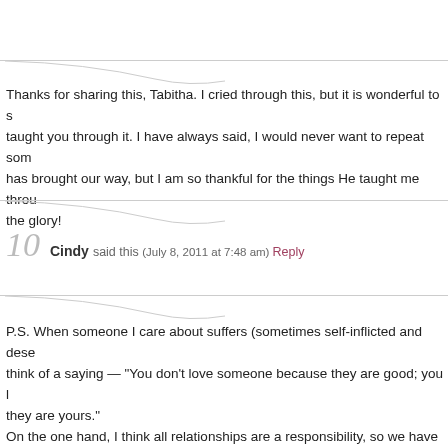Thanks for sharing this, Tabitha. I cried through this, but it is wonderful to see what God taught you through it. I have always said, I would never want to repeat some of the things life has brought our way, but I am so thankful for the things He taught me through them. All for the glory!
10  Cindy said this (July 8, 2011 at 7:48 am) Reply
P.S. When someone I care about suffers (sometimes self-inflicted and deserved), I always think of a saying — "You don't love someone because they are good; you love them because they are yours."
On the one hand, I think all relationships are a responsibility, so we have to be careful as to whom we open our hearts completely. On the other hand, I think God has placed at least one person in our lives who has somehow torn our hearts as we wish we could turn back the hands of time and help them to make different choices for the sake of their relationship with God.
In the end, you can only make your own choices, trusting God to help you keep your heart regardless of what happens, realizing that bitterness only distorts our perspectives and robs our joy, and knowing that He is always, always there for the loved one as well, through